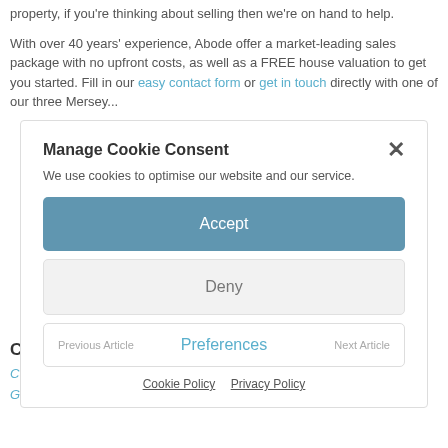property, if you're thinking about selling then we're on hand to help.
With over 40 years' experience, Abode offer a market-leading sales package with no upfront costs, as well as a FREE house valuation to get you started. Fill in our easy contact form or get in touch directly with one of our three Mersey...
Manage Cookie Consent
We use cookies to optimise our website and our service.
Accept
Deny
Previous Article
Preferences
Next Article
Cookie Policy   Privacy Policy
Categories
Celebrity Homes
Guide